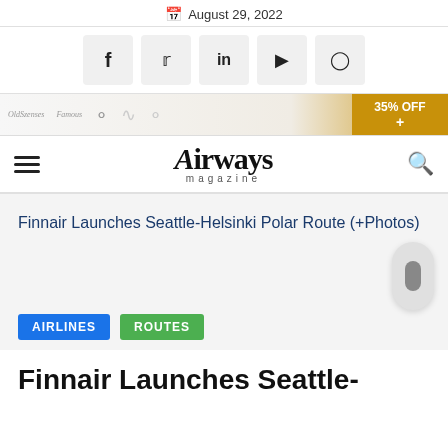August 29, 2022
[Figure (infographic): Social media share buttons: Facebook, Twitter, LinkedIn, YouTube, Instagram]
[Figure (infographic): Advertisement banner with 35% OFF badge]
Airways magazine
Finnair Launches Seattle-Helsinki Polar Route (+Photos)
AIRLINES   ROUTES
Finnair Launches Seattle-Helsinki Polar Route